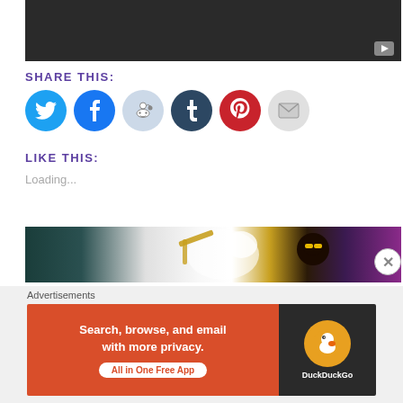[Figure (screenshot): Dark video player thumbnail with play button in bottom right corner]
SHARE THIS:
[Figure (infographic): Row of social sharing icon circles: Twitter (blue), Facebook (dark blue), Reddit (light blue), Tumblr (dark navy), Pinterest (red), Email (gray)]
LIKE THIS:
Loading...
[Figure (photo): Partial image showing animated characters with glowing light effects, dark background with purple tones]
Advertisements
[Figure (screenshot): DuckDuckGo advertisement banner: 'Search, browse, and email with more privacy. All in One Free App' with DuckDuckGo logo on dark right panel]